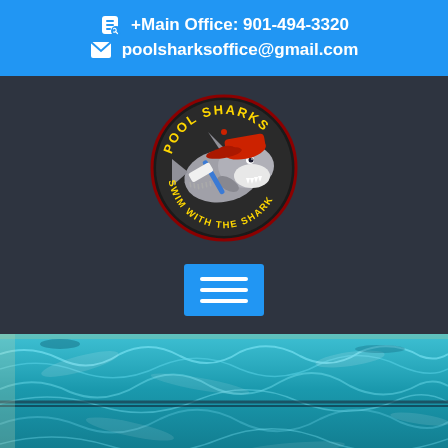+Main Office: 901-494-3320
poolsharksoffice@gmail.com
[Figure (logo): Pool Sharks circular logo featuring a cartoon shark wearing a red cap and holding a pool brush, with text 'POOL SHARKS' at top and 'SWIM WITH THE SHARK' around the border, on a dark circular background]
[Figure (other): Blue square button with three horizontal white lines (hamburger/menu icon)]
[Figure (photo): Aerial/overhead view of a swimming pool with blue-green water showing lane dividers and rippling water surface]